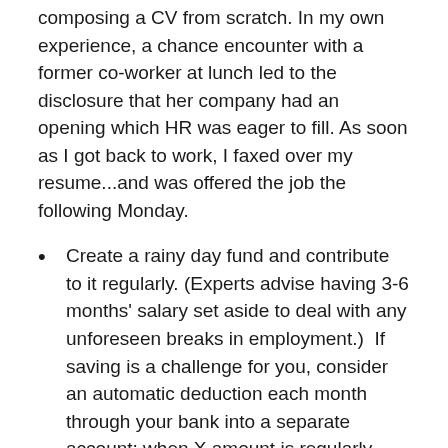composing a CV from scratch. In my own experience, a chance encounter with a former co-worker at lunch led to the disclosure that her company had an opening which HR was eager to fill. As soon as I got back to work, I faxed over my resume...and was offered the job the following Monday.
Create a rainy day fund and contribute to it regularly. (Experts advise having 3-6 months' salary set aside to deal with any unforeseen breaks in employment.)  If saving is a challenge for you, consider an automatic deduction each month through your bank into a separate account; when X amount is regularly taken out before you can ever see it and spend it, saving becomes a painless habit you won't even think about.
Assess your transferable skills. When was the last time you made a list of all the things you know how to do? Are these talents only applicable to your current industry? If